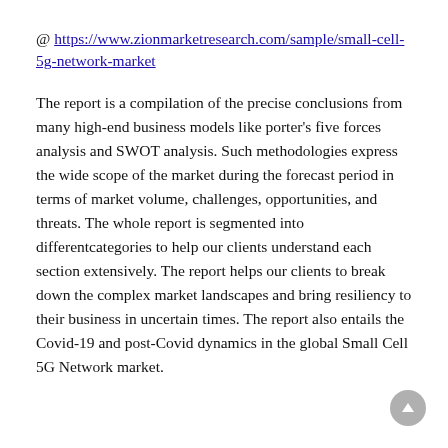@ https://www.zionmarketresearch.com/sample/small-cell-5g-network-market
The report is a compilation of the precise conclusions from many high-end business models like porter's five forces analysis and SWOT analysis. Such methodologies express the wide scope of the market during the forecast period in terms of market volume, challenges, opportunities, and threats. The whole report is segmented into differentcategories to help our clients understand each section extensively. The report helps our clients to break down the complex market landscapes and bring resiliency to their business in uncertain times. The report also entails the Covid-19 and post-Covid dynamics in the global Small Cell 5G Network market.